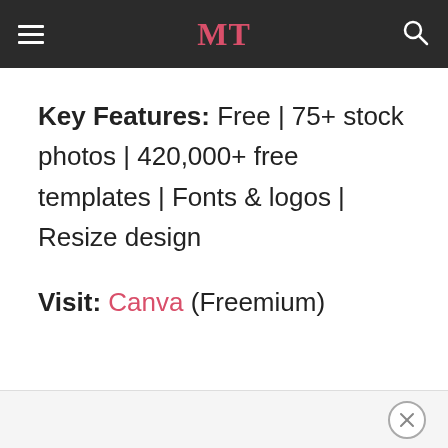MT
Key Features: Free | 75+ stock photos | 420,000+ free templates | Fonts & logos | Resize design
Visit: Canva (Freemium)